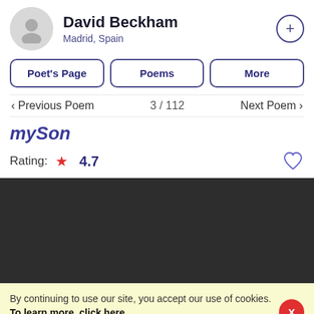David Beckham
Madrid, Spain
Poet's Page
Poems
More
< Previous Poem   3 / 112   Next Poem >
mySon
Rating: ★ 4.7
[Figure (photo): Dark/black rectangular image area (video or image placeholder)]
By continuing to use our site, you accept our use of cookies. To learn more, click here.